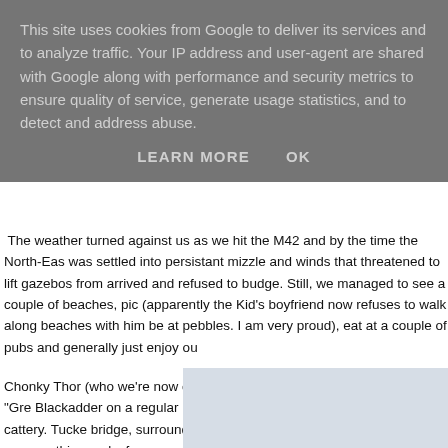This site uses cookies from Google to deliver its services and to analyze traffic. Your IP address and user-agent are shared with Google along with performance and security metrics to ensure quality of service, generate usage statistics, and to detect and address abuse.
LEARN MORE   OK
The weather turned against us as we hit the M42 and by the time the North-Eas was settled into persistant mizzle and winds that threatened to lift gazebos from arrived and refused to budge. Still, we managed to see a couple of beaches, pic (apparently the Kid's boyfriend now refuses to walk along beaches with him be at pebbles. I am very proud), eat at a couple of pubs and generally just enjoy ou
Chonky Thor (who we're now calling the Great Boo mainly so we can cry "Gre Blackadder on a regular basis) and Wee Mabel went into a local cattery. Tucke bridge, surrounded by trees - it quite made me want to give up everything and c forgave us within an hour of getting home. In fact, the owner sent us pics of the petted. Traitor.
[Figure (photo): Partial view of an image, appears to be a light blue/grey rectangle placeholder at bottom right of page]